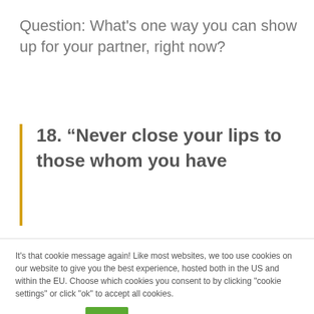Question: What's one way you can show up for your partner, right now?
18. “Never close your lips to those whom you have
It's that cookie message again! Like most websites, we too use cookies on our website to give you the best experience, hosted both in the US and within the EU. Choose which cookies you consent to by clicking "cookie settings" or click "ok" to accept all cookies.
Cookie settings   Ok